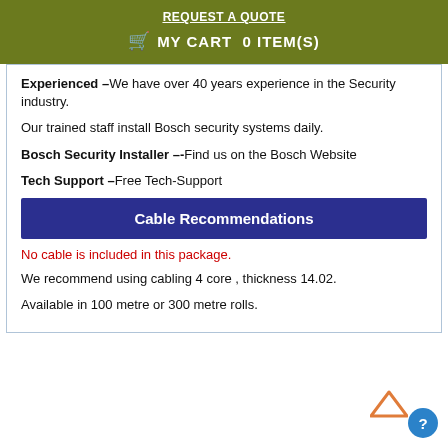REQUEST A QUOTE
MY CART  0 ITEM(S)
Experienced –We have over 40 years experience in the Security industry.
Our trained staff install Bosch security systems daily.
Bosch Security Installer –-Find us on the Bosch Website
Tech Support –Free Tech-Support
Cable Recommendations
No cable is included in this package.
We recommend using cabling 4 core , thickness 14.02.
Available in 100 metre or 300 metre rolls.